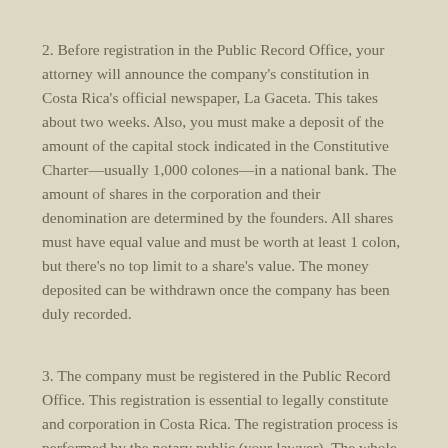2. Before registration in the Public Record Office, your attorney will announce the company's constitution in Costa Rica's official newspaper, La Gaceta. This takes about two weeks. Also, you must make a deposit of the amount of the capital stock indicated in the Constitutive Charter—usually 1,000 colones—in a national bank. The amount of shares in the corporation and their denomination are determined by the founders. All shares must have equal value and must be worth at least 1 colon, but there's no top limit to a share's value. The money deposited can be withdrawn once the company has been duly recorded.
3. The company must be registered in the Public Record Office. This registration is essential to legally constitute and corporation in Costa Rica. The registration process is performed by the notary public (your lawyer). The whole process takes from one to three months, depending on the time it takes for the Public Registry to approve the company's bylaws, including the books.